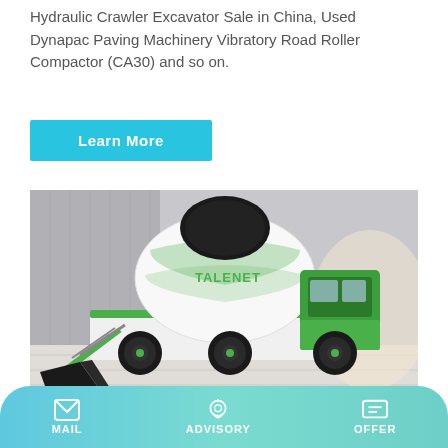Hydraulic Crawler Excavator Sale in China, Used Dynapac Paving Machinery Vibratory Road Roller Compactor (CA30) and so on.
Learn More
[Figure (photo): A green and white Talenet self-loading concrete mixer truck with a large rotating drum and front loading bucket, parked on a tiled surface with a modern building background.]
China Zoomlion Truck Mounted
MAIL  ADVISORY  OFFER